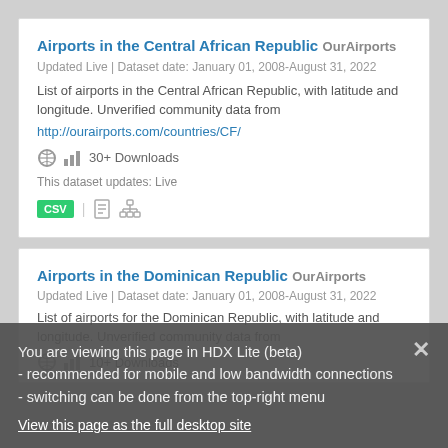Airports in the Central African Republic
OurAirports
Updated Live | Dataset date: January 01, 2008-August 31, 2022
List of airports in the Central African Republic, with latitude and longitude. Unverified community data from http://ourairports.com/countries/CF/
30+ Downloads
This dataset updates: Live
CSV
Airports in the Dominican Republic
OurAirports
Updated Live | Dataset date: January 01, 2008-August 31, 2022
List of airports in the Dominican Republic, with latitude and longitude. Unverified community data from http://ourairports.com/countries/DO/
10+ Downloads
You are viewing this page in HDX Lite (beta) - recommended for mobile and low bandwidth connections - switching can be done from the top-right menu
View this page as the full desktop site